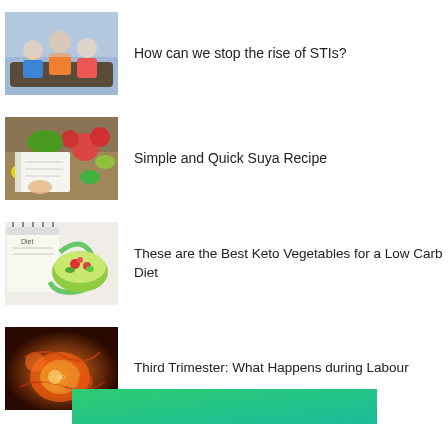[Figure (photo): Group of young people sitting together, appearing to be in a discussion or class setting]
How can we stop the rise of STIs?
[Figure (photo): Person writing in a notebook surrounded by vegetables and fresh produce on a table]
Simple and Quick Suya Recipe
[Figure (photo): Diet notebook with a bowl of salad and measuring tape, keto diet concept]
These are the Best Keto Vegetables for a Low Carb Diet
[Figure (photo): Medical illustration showing pregnancy or childbirth related anatomy in orange/amber tones]
Third Trimester: What Happens during Labour
[Figure (illustration): Green/teal gradient banner at bottom of page]